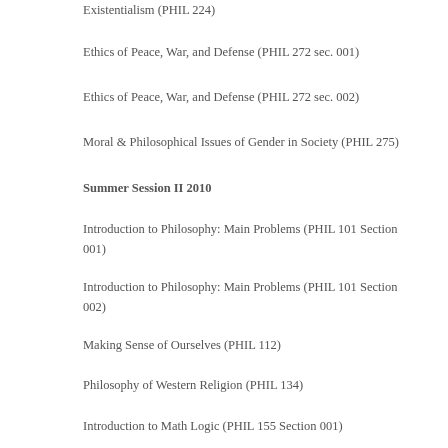Existentialism (PHIL 224)
Ethics of Peace, War, and Defense (PHIL 272 sec. 001)
Ethics of Peace, War, and Defense (PHIL 272 sec. 002)
Moral & Philosophical Issues of Gender in Society (PHIL 275)
Summer Session II 2010
Introduction to Philosophy: Main Problems (PHIL 101 Section 001)
Introduction to Philosophy: Main Problems (PHIL 101 Section 002)
Making Sense of Ourselves (PHIL 112)
Philosophy of Western Religion (PHIL 134)
Introduction to Math Logic (PHIL 155 Section 001)